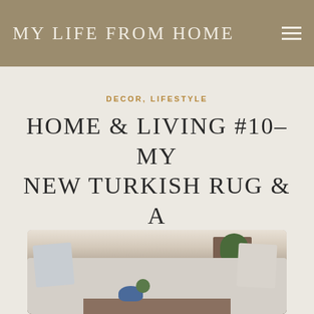MY LIFE FROM HOME
DECOR, LIFESTYLE
HOME & LIVING #10- MY NEW TURKISH RUG & A BEAUTIFUL BATHROOM RENO
[Figure (photo): Interior living room scene showing a neutral linen sofa with patterned cushions, a wooden cabinet with a green plant on top, a side table with a blue and white bowl and green decorative ball, partially cropped at the bottom of the page.]